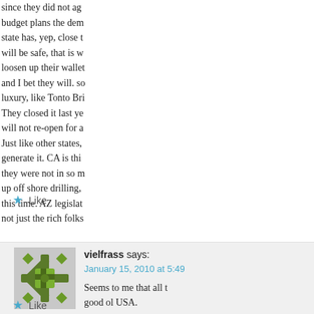since they did not agree budget plans the dem state has, yep, close t will be safe, that is w loosen up their wallet and I bet they will. so luxury, like Tonto Bri They closed it last ye will not re-open for a Just like other states, generate it. CA is thi they were not in so m up off shore drilling, this time. AZ legislat not just the rich folks
Like
vielfrass says:
January 15, 2010 at 5:49
Seems to me that all t good ol USA.
Like